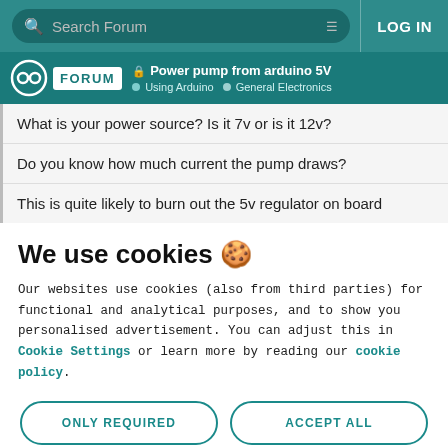Search Forum | LOG IN
Power pump from arduino 5V — Using Arduino > General Electronics
What is your power source? Is it 7v or is it 12v?
Do you know how much current the pump draws?
This is quite likely to burn out the 5v regulator on board
We use cookies 🍪
Our websites use cookies (also from third parties) for functional and analytical purposes, and to show you personalised advertisement. You can adjust this in Cookie Settings or learn more by reading our cookie policy.
ONLY REQUIRED | ACCEPT ALL